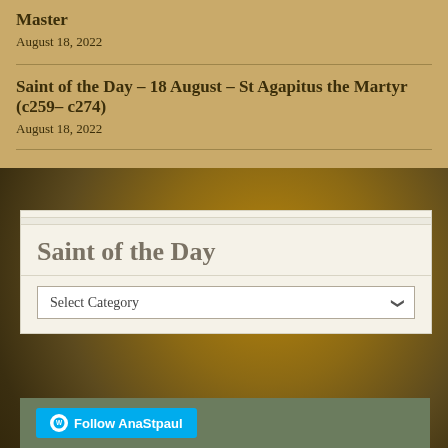Master
August 18, 2022
Saint of the Day – 18 August – St Agapitus the Martyr (c259– c274)
August 18, 2022
Saint of the Day
Select Category
Follow AnaStpaul